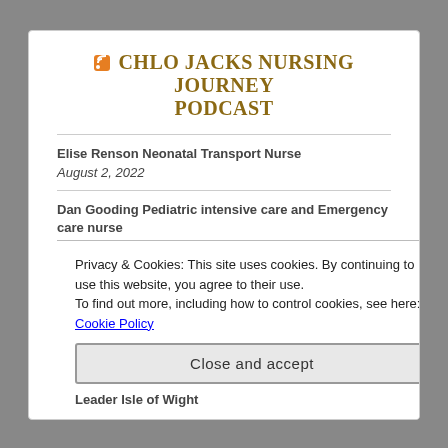CHLO JACKS NURSING JOURNEY PODCAST
Elise Renson Neonatal Transport Nurse
August 2, 2022
Dan Gooding Pediatric intensive care and Emergency care nurse
July 7, 2022
Digital Health - Lisa Gartshore
Privacy & Cookies: This site uses cookies. By continuing to use this website, you agree to their use.
To find out more, including how to control cookies, see here: Cookie Policy
Close and accept
Leader Isle of Wight